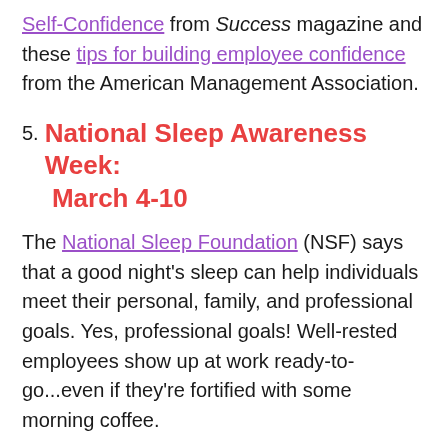Self-Confidence from Success magazine and these tips for building employee confidence from the American Management Association.
5. National Sleep Awareness Week: March 4-10
The National Sleep Foundation (NSF) says that a good night's sleep can help individuals meet their personal, family, and professional goals. Yes, professional goals! Well-rested employees show up at work ready-to-go...even if they're fortified with some morning coffee.
Engagement tip: Let NSF do the heavy-lifting for you so you can have a relatively restful week. Start by downloading NSF's Sleep Awareness Week infographic, posters, website logo, social media messages, and other content to share with